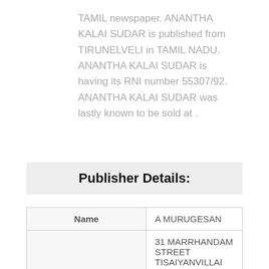TAMIL newspaper. ANANTHA KALAI SUDAR is published from TIRUNELVELI in TAMIL NADU. ANANTHA KALAI SUDAR is having its RNI number 55307/92. ANANTHA KALAI SUDAR was lastly known to be sold at .
Publisher Details:
|  |  |
| --- | --- |
| Name | A MURUGESAN |
| Address | 31 MARRHANDAM STREET TISAIYANVILLAI THIRUNELVELI KOTTABOMMAN,, TIRUNELVELI, TAMIL NADU |
| Publication | 6- F, D. M. N. S. BLDG., SRI ARPUTHA NAGAR, KOTTABOMMAN, TIRUNELVELI |